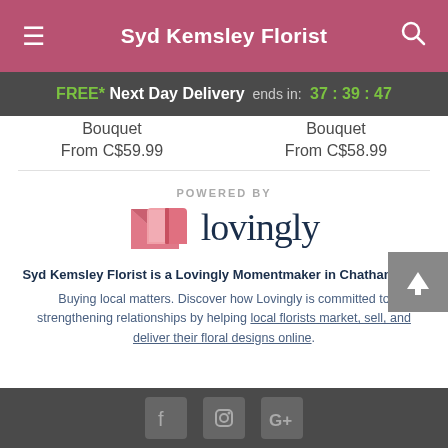Syd Kemsley Florist
FREE* Next Day Delivery ends in: 37 : 39 : 47
Bouquet
From C$59.99
Bouquet
From C$58.99
[Figure (logo): Lovingly logo with pink heart/envelope icon and wordmark]
POWERED BY
Syd Kemsley Florist is a Lovingly Momentmaker in Chatham, ON.
Buying local matters. Discover how Lovingly is committed to strengthening relationships by helping local florists market, sell, and deliver their floral designs online.
[Figure (illustration): Social media icons: Facebook, Instagram, Google+]
Footer with social media icons